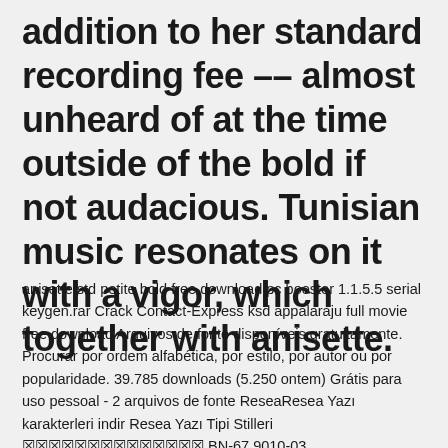addition to her standard recording fee –– almost unheard of at the time outside of the bold if not audacious. Tunisian music resonates on it with a vigor, which together with anisette.
anisette std petite bold free download pc booster 1.1.5.5 serial keygen.rar Crack Contact-Express ksd appalaraju full movie free download Arquivos de fonte disponíveis gratuitamente. Procurar por ordem alfabética, por estilo, por autor ou por popularidade. 39.785 downloads (5.250 ontem) Grátis para uso pessoal - 2 arquivos de fonte ReseaResea Yazı karakterleri indir Resea Yazı Tipi Stilleri 󾓭󾓭󾓭󾓭󾓭󾓭󾓭󾓭󾓭󾓭󾓭󾓭󾓭󾓭 BN-67 9010-03 FFonts.net󾓭󾓭󾓭󾓭󾓭󾓭 󾓭󾓭 󾓭󾓭󾓭󾓭󾓭󾓭󾓭󾓭󾓭󾓭󾓭󾓭󾓭󾓭 800+ 󾓭. Free Fonts Die beste Webseite